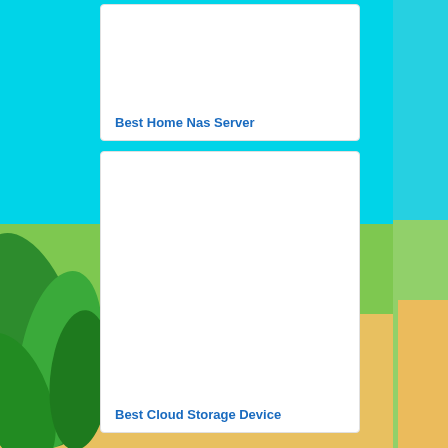[Figure (illustration): Beach scene background with cyan sky, green foliage on left, sandy beach with orange-tinted right side]
Best Home Nas Server
[Figure (illustration): Large white card/content block, mostly blank white space]
Best Cloud Storage Device